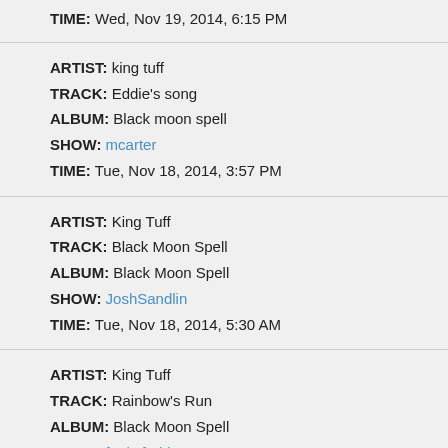TIME: Wed, Nov 19, 2014, 6:15 PM
ARTIST: king tuff | TRACK: Eddie's song | ALBUM: Black moon spell | SHOW: mcarter | TIME: Tue, Nov 18, 2014, 3:57 PM
ARTIST: King Tuff | TRACK: Black Moon Spell | ALBUM: Black Moon Spell | SHOW: JoshSandlin | TIME: Tue, Nov 18, 2014, 5:30 AM
ARTIST: King Tuff | TRACK: Rainbow's Run | ALBUM: Black Moon Spell | SHOW: funkyfoddy | TIME: Mon, Nov 17, 2014, 6:50 PM
ARTIST: King Tuff | TRACK: Beautiful Thing